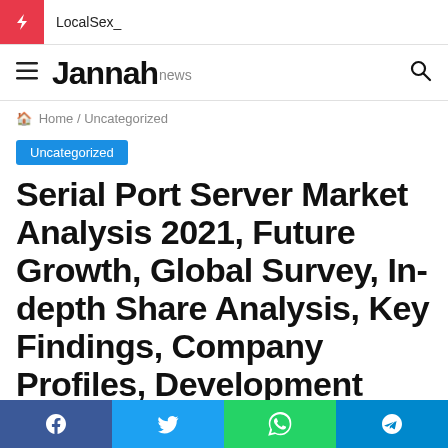LocalSex_
Jannah news
Home / Uncategorized
Uncategorized
Serial Port Server Market Analysis 2021, Future Growth, Global Survey, In-depth Share Analysis, Key Findings, Company Profiles, Development Strategy,